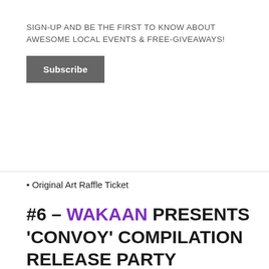SIGN-UP AND BE THE FIRST TO KNOW ABOUT AWESOME LOCAL EVENTS & FREE-GIVEAWAYS!
Subscribe
• Original Art Raffle Ticket
#6 – WAKAAN PRESENTS 'CONVOY' COMPILATION RELEASE PARTY FEATURING LIQUID STRANGER, LSDREAM, & ESSEKS @ BETA